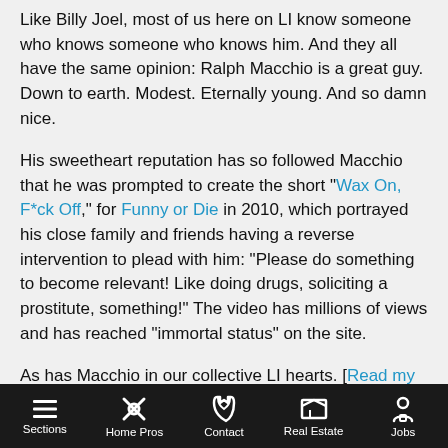Like Billy Joel, most of us here on LI know someone who knows someone who knows him. And they all have the same opinion: Ralph Macchio is a great guy. Down to earth. Modest. Eternally young. And so damn nice.
His sweetheart reputation has so followed Macchio that he was prompted to create the short "Wax On, F*ck Off," for Funny or Die in 2010, which portrayed his close family and friends having a reverse intervention to plead with him: "Please do something to become relevant! Like doing drugs, soliciting a prostitute, something!" The video has millions of views and has reached "immortal status" on the site.
As has Macchio in our collective LI hearts. [Read my heart-stopping interview with the eternal LI heartthrob – "Ralph Macchio: L.I.'s Karate Kid Stays True To Form With 'Across Grace Alley'" – HERE]
Sections | Home Pros | Contact | Real Estate | Jobs